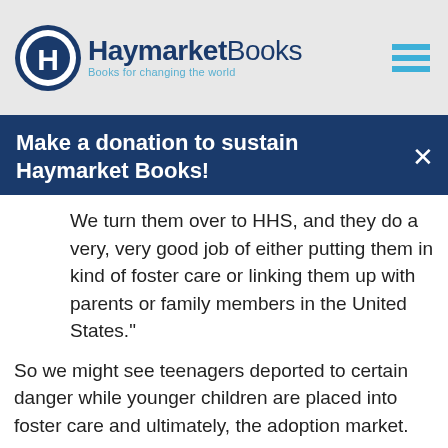Haymarket Books – Books for changing the world
Make a donation to sustain Haymarket Books!
We turn them over to HHS, and they do a very, very good job of either putting them in kind of foster care or linking them up with parents or family members in the United States."
So we might see teenagers deported to certain danger while younger children are placed into foster care and ultimately, the adoption market.